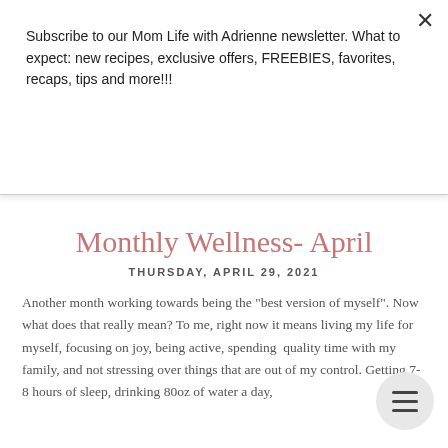Subscribe to our Mom Life with Adrienne newsletter. What to expect: new recipes, exclusive offers, FREEBIES, favorites, recaps, tips and more!!!
Subscribe
Monthly Wellness- April
THURSDAY, APRIL 29, 2021
Another month working towards being the "best version of myself". Now what does that really mean? To me, right now it means living my life for myself, focusing on joy, being active, spending quality time with my family, and not stressing over things that are out of my control. Getting 7-8 hours of sleep, drinking 80oz of water a day,